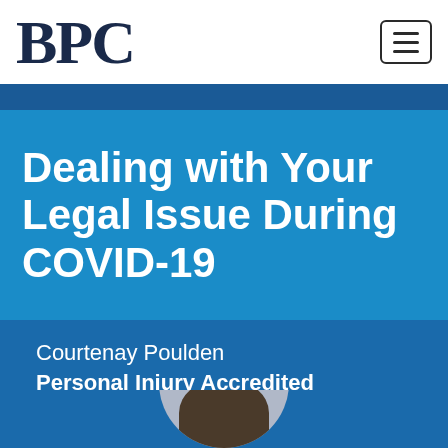BPC
Dealing with Your Legal Issue During COVID-19
Courtenay Poulden
Personal Injury Accredited Specialist
[Figure (photo): Circular portrait photo of Courtenay Poulden, partially visible at bottom of page]